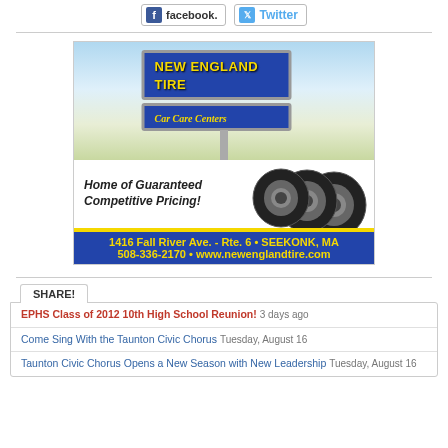[Figure (logo): Facebook and Twitter social media buttons at top]
[Figure (photo): New England Tire Car Care Centers advertisement showing a sign with yellow text on blue background, tires, road, tagline Home of Guaranteed Competitive Pricing!, address 1416 Fall River Ave. - Rte. 6 SEEKONK, MA, phone 508-336-2170, website www.newenglandtire.com]
SHARE!
EPHS Class of 2012 10th High School Reunion! 3 days ago
Come Sing With the Taunton Civic Chorus Tuesday, August 16
Taunton Civic Chorus Opens a New Season with New Leadership Tuesday, August 16